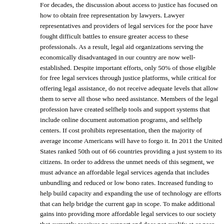For decades, the discussion about access to justice has focused on how to obtain free representation by lawyers. Lawyer representatives and providers of legal services for the poor have fought difficult battles to ensure greater access to these professionals. As a result, legal aid organizations serving the economically disadvantaged in our country are now well-established. Despite important efforts, only 50% of those eligible for free legal services through justice platforms, while critical for offering legal assistance, do not receive adequate levels that allow them to serve all those who need assistance. Members of the legal profession have created selfhelp tools and support systems that include online document automation programs, and selfhelp centers. If cost prohibits representation, then the majority of average income Americans will have to forgo it. In 2011 the United States ranked 50th out of 66 countries providing a just system to its citizens. In order to address the unmet needs of this segment, we must advance an affordable legal services agenda that includes unbundling and reduced or low bono rates. Increased funding to help build capacity and expanding the use of technology are efforts that can help bridge the current gap in scope. To make additional gains into providing more affordable legal services to our society that currently receives no support and does not qualify at or near poverty. According to the research of an expert on poverty, Americans between the ages of 25 and 60 will experience at least one year below the poverty line and 40% will spend a year in poverty or near poverty (below 150% of the poverty level). This segment of the population requires a legal system that keeps them from financial instability. A lowercost legal service delivery system employing paraprofessionals and lawyers to get them back into a more stable financial